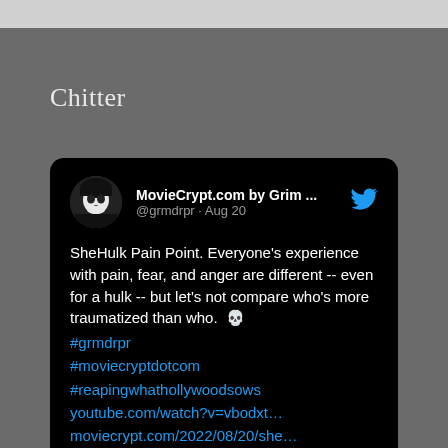Chitter
[Figure (screenshot): A Twitter/Chitter post card on black background. User: MovieCrypt.com by Grim ... @grmdrpr · Aug 20. Tweet text: SheHulk Pain Point. Everyone's experience with pain, fear, and anger are different -- even for a hulk -- but let's not compare who's more traumatized than who. 💀 #grmdrpr #moviecryptdotcom #reapingwhathollywoodsows youtube.com/watch?v=vbodxt... moviecrypt.com/2022/08/20/she...]